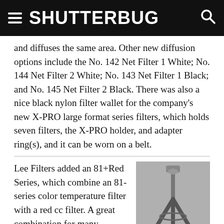SHUTTERBUG
and diffuses the same area. Other new diffusion options include the No. 142 Net Filter 1 White; No. 144 Net Filter 2 White; No. 143 Net Filter 1 Black; and No. 145 Net Filter 2 Black. There was also a nice black nylon filter wallet for the company's new X-PRO large format series filters, which holds seven filters, the X-PRO holder, and adapter ring(s), and it can be worn on a belt.
Lee Filters added an 81+Red Series, which combine an 81-series color temperature filter with a red cc filter. A great combination for many landscape
[Figure (photo): Black and white photo of a camera tripod]